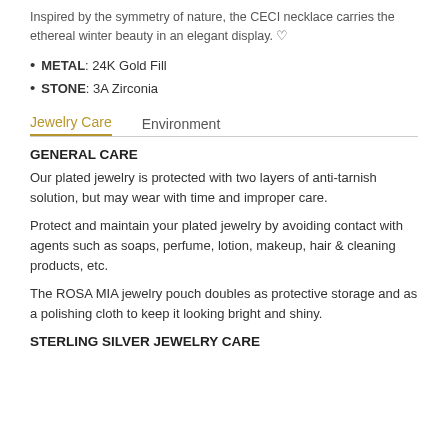Inspired by the symmetry of nature, the CECI necklace carries the ethereal winter beauty in an elegant display. ♡
METAL: 24K Gold Fill
STONE: 3A Zirconia
Jewelry Care | Environment (tabs)
GENERAL CARE
Our plated jewelry is protected with two layers of anti-tarnish solution, but may wear with time and improper care.
Protect and maintain your plated jewelry by avoiding contact with agents such as soaps, perfume, lotion, makeup, hair & cleaning products, etc.
The ROSA MIA jewelry pouch doubles as protective storage and as a polishing cloth to keep it looking bright and shiny.
STERLING SILVER JEWELRY CARE